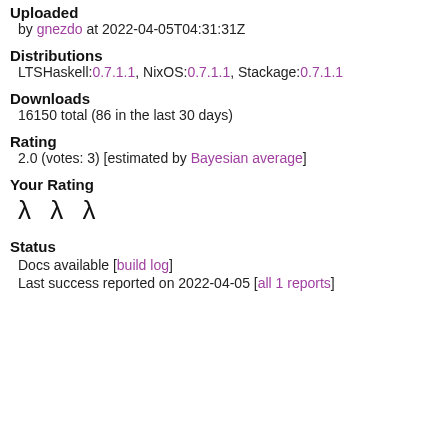Uploaded
by gnezdo at 2022-04-05T04:31:31Z
Distributions
LTSHaskell:0.7.1.1, NixOS:0.7.1.1, Stackage:0.7.1.1
Downloads
16150 total (86 in the last 30 days)
Rating
2.0 (votes: 3) [estimated by Bayesian average]
Your Rating
λ λ λ
Status
Docs available [build log]
Last success reported on 2022-04-05 [all 1 reports]